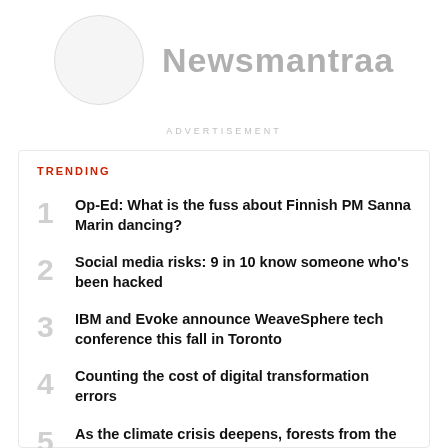Newsmantraa
ADVERTISEMENT
TRENDING
1 Op-Ed: What is the fuss about Finnish PM Sanna Marin dancing?
2 Social media risks: 9 in 10 know someone who's been hacked
3 IBM and Evoke announce WeaveSphere tech conference this fall in Toronto
4 Counting the cost of digital transformation errors
5 As the climate crisis deepens, forests from the...